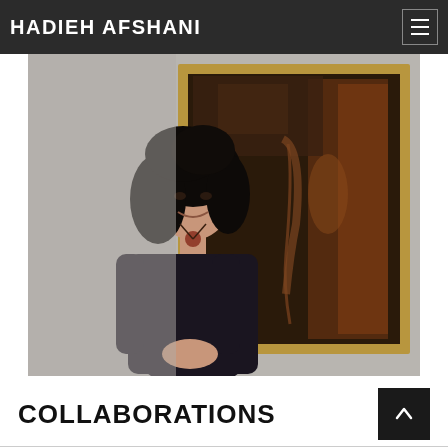HADIEH AFSHANI
[Figure (photo): A woman with dark curly hair wearing a black long-sleeve top stands smiling in front of a large framed painting with dark brown tones depicting an interior scene with a corridor and hanging form.]
COLLABORATIONS